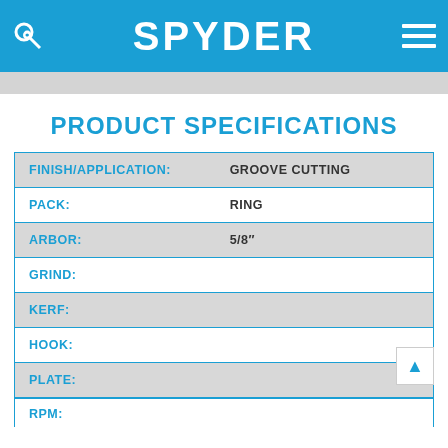SPYDER
PRODUCT SPECIFICATIONS
| Specification | Value |
| --- | --- |
| FINISH/APPLICATION: | GROOVE CUTTING |
| PACK: | RING |
| ARBOR: | 5/8" |
| GRIND: |  |
| KERF: |  |
| HOOK: |  |
| PLATE: |  |
| RPM: |  |